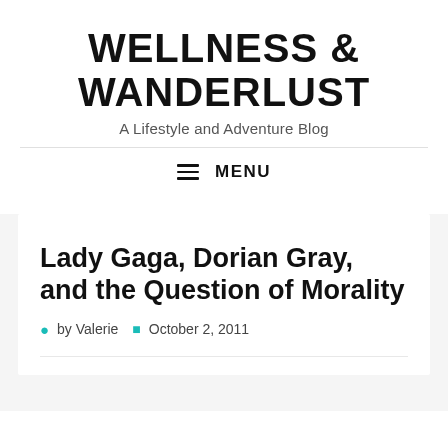WELLNESS & WANDERLUST
A Lifestyle and Adventure Blog
MENU
Lady Gaga, Dorian Gray, and the Question of Morality
by Valerie  October 2, 2011